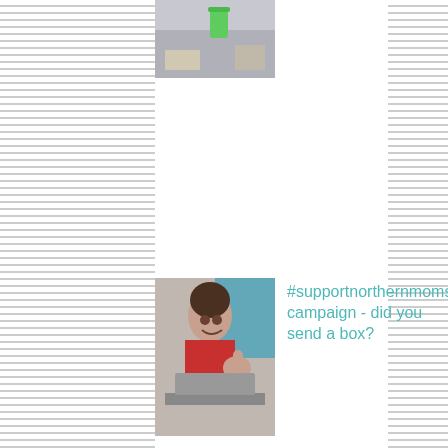[Figure (photo): Top thumbnail image partially visible - items on a desk with a green cup]
#supportnorthernmoms campaign - did you send a box?
[Figure (photo): Woman smiling giving thumbs up selfie]
Shit they don't tell you: Pregnancy
[Figure (photo): Pregnant woman taking mirror selfie showing baby bump]
[Figure (illustration): Teal chat bubble icon]
Your birth story (happy